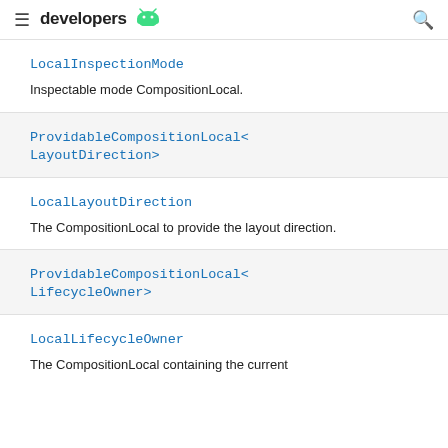≡ developers 🤖 🔍
LocalInspectionMode
Inspectable mode CompositionLocal.
ProvidableCompositionLocal<LayoutDirection>
LocalLayoutDirection
The CompositionLocal to provide the layout direction.
ProvidableCompositionLocal<LifecycleOwner>
LocalLifecycleOwner
The CompositionLocal containing the current